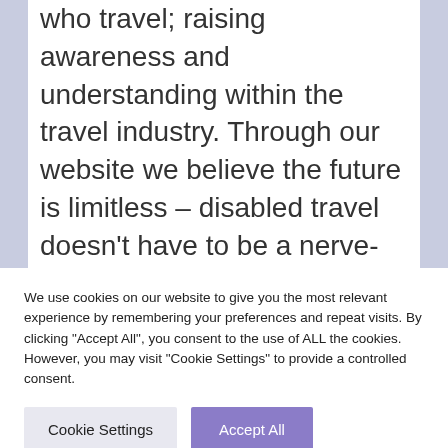promote equality and fairness for all who travel; raising awareness and understanding within the travel industry. Through our website we believe the future is limitless – disabled travel doesn't have to be a nerve-wracking experience; we are making it an exciting opportunity to discover
We use cookies on our website to give you the most relevant experience by remembering your preferences and repeat visits. By clicking "Accept All", you consent to the use of ALL the cookies. However, you may visit "Cookie Settings" to provide a controlled consent.